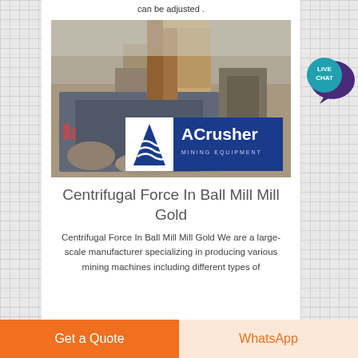can be adjusted .
[Figure (photo): Mining crusher machine (ACrusher Mining Equipment) in an industrial quarry setting with large rocks and machinery. ACrusher logo overlay at bottom of image.]
Centrifugal Force In Ball Mill Mill Gold
Centrifugal Force In Ball Mill Mill Gold We are a large-scale manufacturer specializing in producing various mining machines including different types of
Get a Quote
WhatsApp